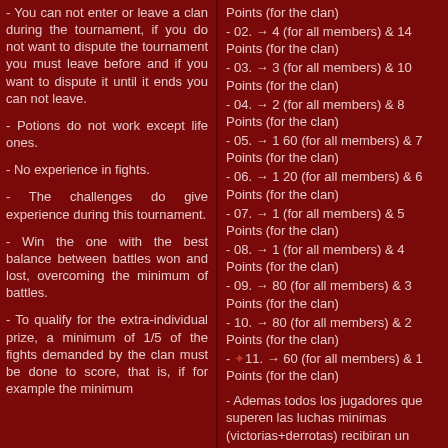- You can not enter or leave a clan during the tournament, if you do not want to dispute the tournament you must leave before and if you want to dispute it until it ends you can not leave.
- Potions do not work except life ones.
- No experience in fights.
- The challenges do give experience during this tournament.
- Win the one with the best balance between battles won and lost, overcoming the minimum of battles.
- To qualify for the extra-individual prize, a minimum of 1/5 of the fights demanded by the clan must be done to score, that is, if for example the minimum
Points (for the clan)
- 02. → 4 (for all members) & 14 Points (for the clan)
- 03. → 3 (for all members) & 10 Points (for the clan)
- 04. → 2 (for all members) & 8 Points (for the clan)
- 05. → 1 60 (for all members) & 7 Points (for the clan)
- 06. → 1 20 (for all members) & 6 Points (for the clan)
- 07. → 1 (for all members) & 5 Points (for the clan)
- 08. → 1 (for all members) & 4 Points (for the clan)
- 09. → 80 (for all members) & 3 Points (for the clan)
- 10. → 80 (for all members) & 2 Points (for the clan)
- ✦11. → 60 (for all members) & 1 Points (for the clan)
- Ademas todos los jugadores que superen las luchas minimas (victorias+derrotas) recibiran un premio extra dependiendo del nivel y luchas realizadas durante el torneo siguiendo esta tabla: